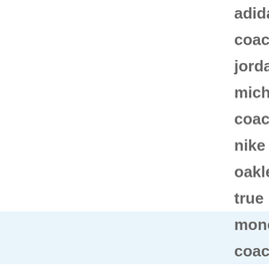adidas n
coach fa
jordan s
michael
coach o
nike air
oakley s
true reli
moncler
coach fa